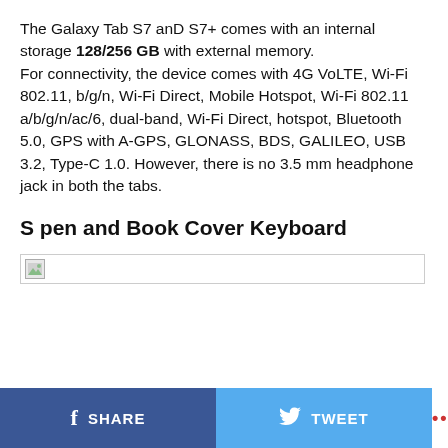The Galaxy Tab S7 anD S7+ comes with an internal storage 128/256 GB with external memory. For connectivity, the device comes with 4G VoLTE, Wi-Fi 802.11, b/g/n, Wi-Fi Direct, Mobile Hotspot, Wi-Fi 802.11 a/b/g/n/ac/6, dual-band, Wi-Fi Direct, hotspot, Bluetooth 5.0, GPS with A-GPS, GLONASS, BDS, GALILEO, USB 3.2, Type-C 1.0. However, there is no 3.5 mm headphone jack in both the tabs.
S pen and Book Cover Keyboard
[Figure (other): Broken/loading image placeholder with small icon]
SHARE   TWEET   ...